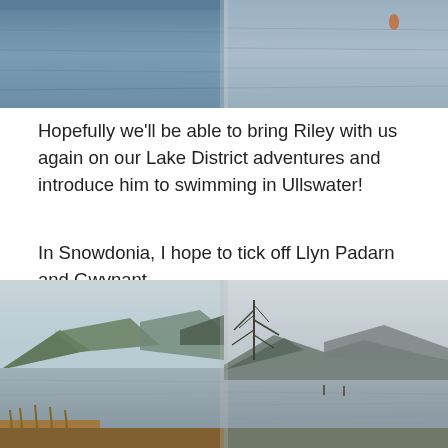[Figure (photo): Top-left photo showing water surface of a lake with ripples, grayish-blue tones]
[Figure (photo): Top-right photo showing water surface of a lake with a small buoy or object visible, lighter gray tones]
Hopefully we'll be able to bring Riley with us again on our Lake District adventures and introduce him to swimming in Ullswater!
In Snowdonia, I hope to tick off Llyn Padarn and Gwynant.
[Figure (photo): Bottom-left photo showing a lake with mountains in the background, bare winter vegetation in foreground, Llyn Padarn area]
[Figure (photo): Bottom-right photo showing a lake with mountains reflected, bare tree branches on left, overcast sky, Gwynant area]